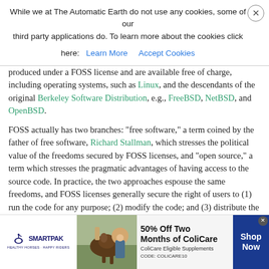produced under a FOSS license and are available free of charge, including operating systems, such as Linux, and the descendants of the original Berkeley Software Distribution, e.g., FreeBSD, NetBSD, and OpenBSD.
FOSS actually has two branches: "free software," a term coined by the father of free software, Richard Stallman, which stresses the political value of the freedoms secured by FOSS licenses, and "open source," a term which stresses the pragmatic advantages of having access to the source code. In practice, the two approaches espouse the same freedoms, and FOSS licenses generally secure the right of users to (1) run the code for any purpose; (2) modify the code; and (3) distribute the code without paying royalties to the original producer (as David A. Wheeler summarized in "Why Open Source Software / Free Software?"). The formal definitions of Free Software and Open Source
[Figure (other): SmartPak advertisement banner: 50% Off Two Months of ColiCare, ColiCare Eligible Supplements, CODE: COLICARE10, with Shop Now button]